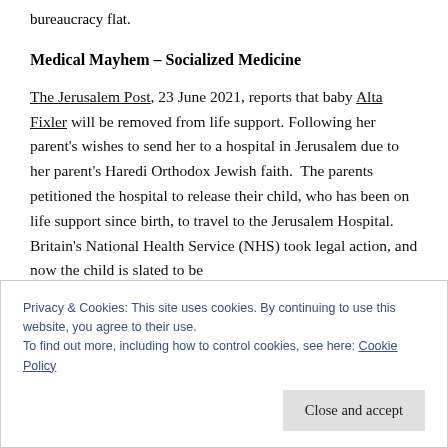bureaucracy flat.
Medical Mayhem – Socialized Medicine
The Jerusalem Post, 23 June 2021, reports that baby Alta Fixler will be removed from life support. Following her parent's wishes to send her to a hospital in Jerusalem due to her parent's Haredi Orthodox Jewish faith.  The parents petitioned the hospital to release their child, who has been on life support since birth, to travel to the Jerusalem Hospital. Britain's National Health Service (NHS) took legal action, and now the child is slated to be
Privacy & Cookies: This site uses cookies. By continuing to use this website, you agree to their use.
To find out more, including how to control cookies, see here: Cookie Policy